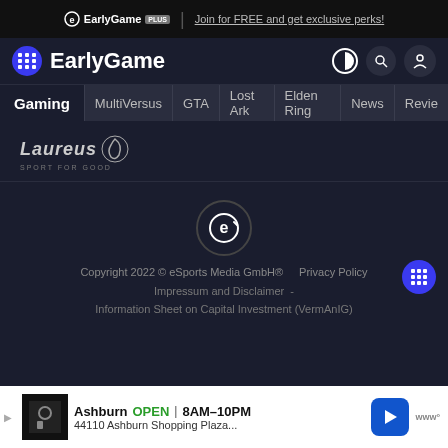EarlyGame PLUS | Join for FREE and get exclusive perks!
[Figure (logo): EarlyGame logo with navigation icons (contrast, search, user)]
Gaming  MultiVersus  GTA  Lost Ark  Elden Ring  News  Revie
[Figure (logo): Laureus Sport for Good logo]
[Figure (logo): EarlyGame circular logo mark]
Copyright 2022 © eSports Media GmbH®   Privacy Policy
Impressum and Disclaimer  -
Information Sheet on Capital Investment (VermAnIG)
[Figure (screenshot): Advertisement banner: Ashburn OPEN 8AM-10PM, 44110 Ashburn Shopping Plaza...]